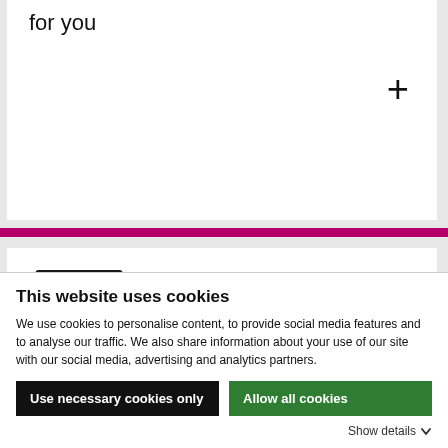for you
[Figure (illustration): Teaching/training icon showing a presenter at a board with two people in front, with a hand supporting them — line art style]
Find courses and training
This website uses cookies
We use cookies to personalise content, to provide social media features and to analyse our traffic. We also share information about your use of our site with our social media, advertising and analytics partners.
Use necessary cookies only
Allow all cookies
Show details